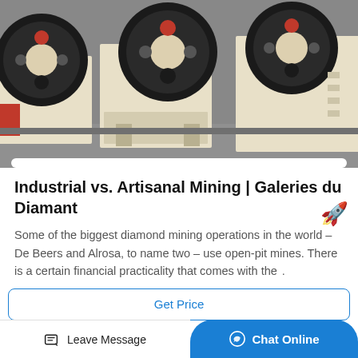[Figure (photo): Industrial jaw crusher machines with large black flywheels and cream/beige painted bodies arranged in a row on a concrete floor]
Industrial vs. Artisanal Mining | Galeries du Diamant
Some of the biggest diamond mining operations in the world – De Beers and Alrosa, to name two – use open-pit mines. There is a certain financial practicality that comes with the .
Get Price
Leave Message
Chat Online